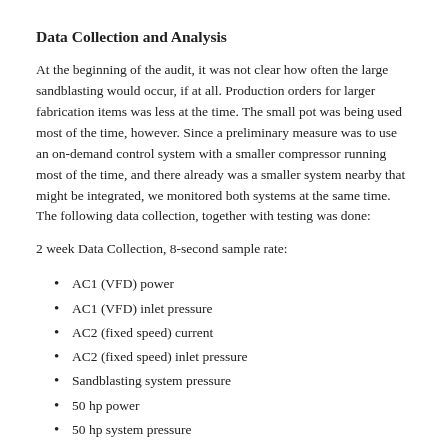Data Collection and Analysis
At the beginning of the audit, it was not clear how often the large sandblasting would occur, if at all. Production orders for larger fabrication items was less at the time. The small pot was being used most of the time, however. Since a preliminary measure was to use an on-demand control system with a smaller compressor running most of the time, and there already was a smaller system nearby that might be integrated, we monitored both systems at the same time. The following data collection, together with testing was done:
2 week Data Collection, 8-second sample rate:
AC1 (VFD) power
AC1 (VFD) inlet pressure
AC2 (fixed speed) current
AC2 (fixed speed) inlet pressure
Sandblasting system pressure
50 hp power
50 hp system pressure
One-time tests: